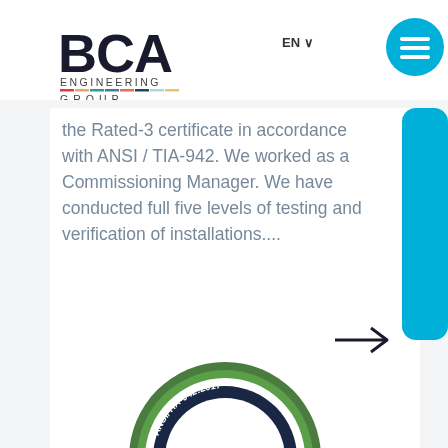[Figure (logo): BCA Engineering Group logo — bold black BCA letters with 'ENGINEERING' and 'GROUP' in smaller text below, multicolor underline]
EN ∨
[Figure (illustration): Cyan circular hamburger menu button with three horizontal lines]
the Rated-3 certificate in accordance with ANSI / TIA-942. We worked as a Commissioning Manager. We have conducted full five levels of testing and verification of installations....
[Figure (illustration): Right-pointing arrow (→) in dark navy color]
[Figure (illustration): Cyan 'Ask a question' vertical sidebar tab on right edge]
[Figure (illustration): ANSI/TIA-942:2017 Facilities Rated 3 green and navy certification badge/seal, partially visible at bottom of page]